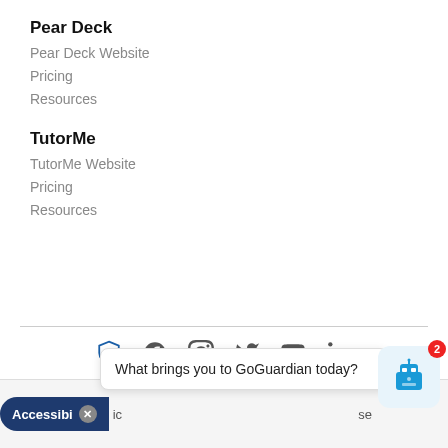Pear Deck
Pear Deck Website
Pricing
Resources
TutorMe
TutorMe Website
Pricing
Resources
[Figure (infographic): Social media icons row: GoGuardian shield logo, Facebook, Instagram, Twitter/X, YouTube, LinkedIn]
What brings you to GoGuardian today?